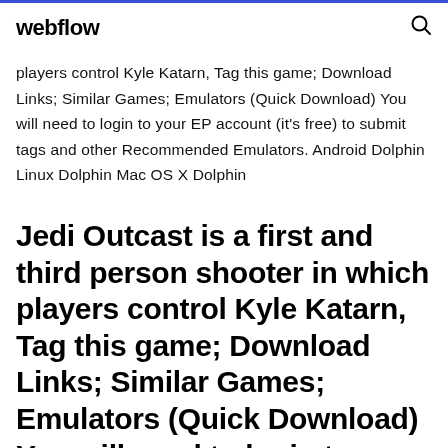webflow
players control Kyle Katarn, Tag this game; Download Links; Similar Games; Emulators (Quick Download) You will need to login to your EP account (it's free) to submit tags and other Recommended Emulators. Android Dolphin Linux Dolphin Mac OS X Dolphin
Jedi Outcast is a first and third person shooter in which players control Kyle Katarn, Tag this game; Download Links; Similar Games; Emulators (Quick Download) You will need to login to your EP account (it's free) to